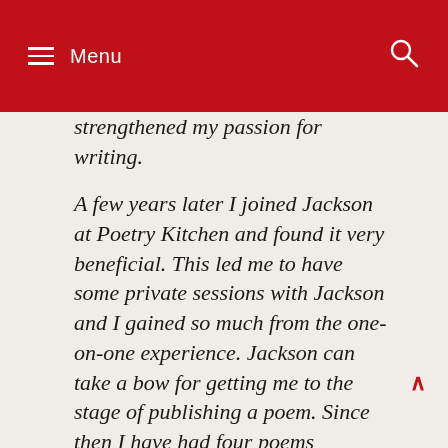Menu
strengthened my passion for writing.
A few years later I joined Jackson at Poetry Kitchen and found it very beneficial. This led me to have some private sessions with Jackson and I gained so much from the one-on-one experience. Jackson can take a bow for getting me to the stage of publishing a poem. Since then I have had four poems published in Creatrix and a short story in 'Redgum Reports', who approached me to write